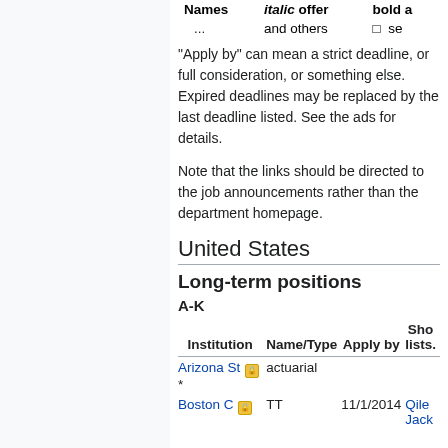| Names | italic offer | bold a... |
| --- | --- | --- |
| ... | and others | □  se... |
"Apply by" can mean a strict deadline, or full consideration, or something else. Expired deadlines may be replaced by the last deadline listed. See the ads for details.
Note that the links should be directed to the job announcements rather than the department homepage.
United States
Long-term positions
A-K
| Institution | Name/Type | Apply by | Sho... lists... |
| --- | --- | --- | --- |
| Arizona St 🔒* | actuarial |  |  |
| Boston C 🔒 | TT | 11/1/2014 | Qile... Jack... |